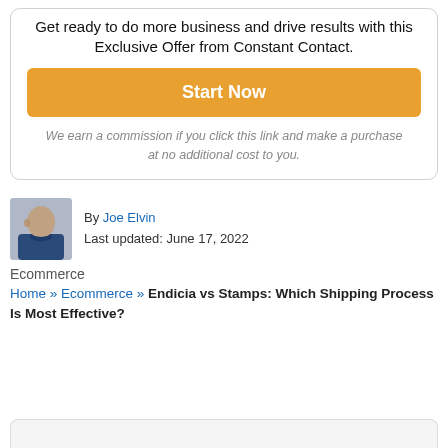Get ready to do more business and drive results with this Exclusive Offer from Constant Contact.
Start Now
We earn a commission if you click this link and make a purchase at no additional cost to you.
By Joe Elvin
Last updated: June 17, 2022
Ecommerce
Home » Ecommerce » Endicia vs Stamps: Which Shipping Process Is Most Effective?